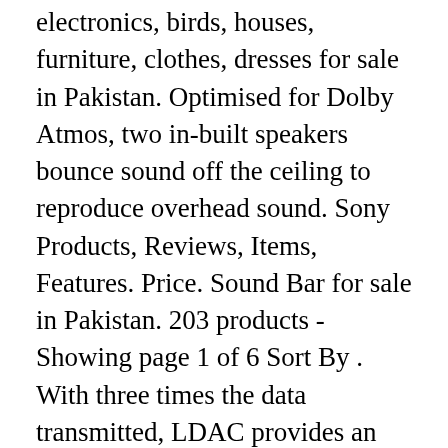electronics, birds, houses, furniture, clothes, dresses for sale in Pakistan. Optimised for Dolby Atmos, two in-built speakers bounce sound off the ceiling to reproduce overhead sound. Sony Products, Reviews, Items, Features. Price. Sound Bar for sale in Pakistan. 203 products - Showing page 1 of 6 Sort By . With three times the data transmitted, LDAC provides an enhanced wireless listening experience for all your music. All Categories. Free delivery in Islamabad, Rawalpindi, Lahore, Karachi, Faisalabad, Quetta and Peshawar. Logitech Prices in Pakistan. Monitors. Professional Products & SolutionsCompany InfoContact Us. Good quality sound. 12,283. Streaming music allows you to enjoy your